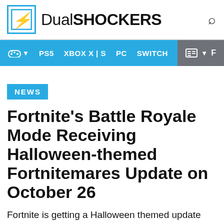DualSHOCKERS
[Figure (logo): DualShockers website logo with lightning bolt icon in blue square and text 'DualSHOCKERS']
PS5 XBOX X | S PC SWITCH
NEWS
Fortnite's Battle Royale Mode Receiving Halloween-themed Fortnitemares Update on October 26
Fortnite is getting a Halloween themed update fittingly titled Fortnitemares on